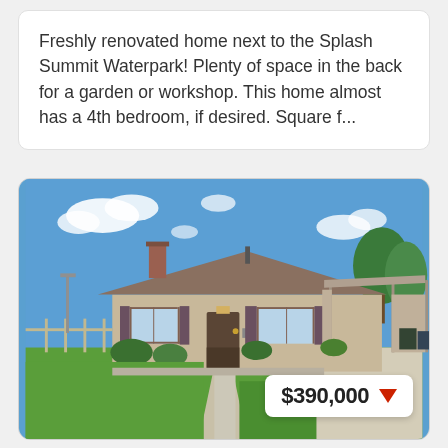Freshly renovated home next to the Splash Summit Waterpark! Plenty of space in the back for a garden or workshop. This home almost has a 4th bedroom, if desired. Square f...
[Figure (photo): Exterior photo of a single-story ranch-style home with tan/beige siding, brown shingled roof, a front lawn with green grass, concrete walkway, carport on the right, blue sky with clouds. A price badge overlay shows $390,000 with a red downward arrow.]